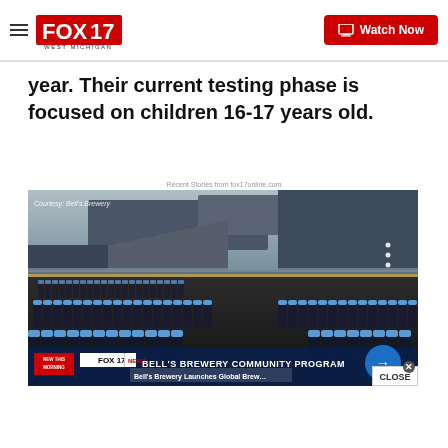FOX 17 WEST MICHIGAN | Watch Now
year. Their current testing phase is focused on children 16-17 years old.
Recent Stories from fox17online.com
[Figure (photo): Bell's Brewery interior showing bottles on conveyor belt, with lower-third graphic reading BELL'S BREWERY COMMUNITY PROGRAM and FOX 17 NEWS branding, plus NEW THIS MORNING label. A blue arrow button and CLOSE button overlay the bottom right.]